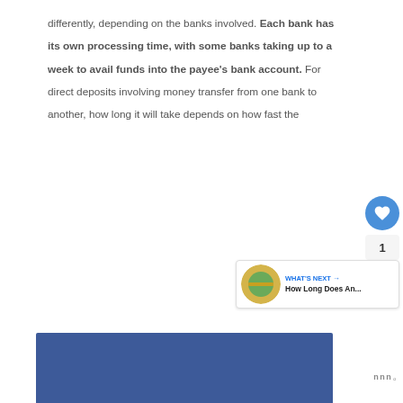differently, depending on the banks involved. Each bank has its own processing time, with some banks taking up to a week to avail funds into the payee's bank account. For direct deposits involving money transfer from one bank to another, how long it will take depends on how fast the
[Figure (other): UI overlay with heart/like button (blue circle with heart icon), count of 1, and share button (grey circle with share icon)]
[Figure (other): What's Next widget showing a circular thumbnail image and text 'How Long Does An...' with a blue arrow label]
[Figure (other): Blue advertisement banner at the bottom of the page with Taboola-style logo to the right]